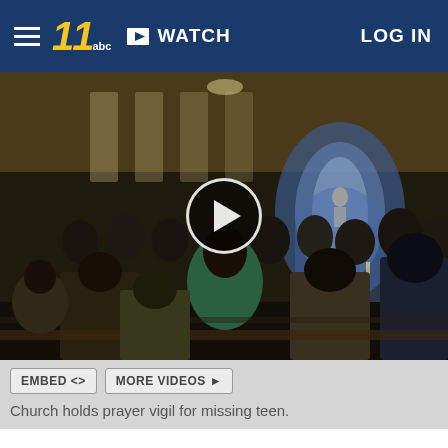WATCH  LOG IN
[Figure (photo): Interior of a church filled with people seated in pews, seen from the back. The front altar area is illuminated with blue/white light showing a religious figure. A video play button overlay is centered on the image.]
Church holds prayer vigil for missing teen.
RED SPRINGS, N.C. (WTVD) -- A community is relying on its faith as they search for a missing 13-year-old girl.